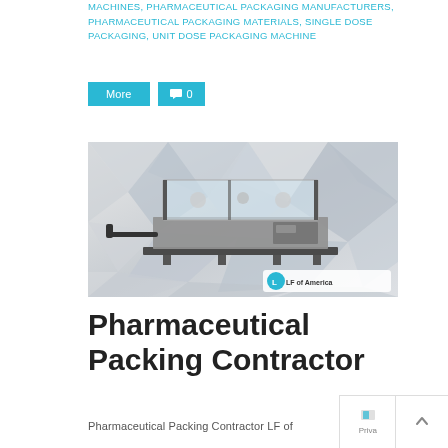MACHINES, PHARMACEUTICAL PACKAGING MANUFACTURERS, PHARMACEUTICAL PACKAGING MATERIALS, SINGLE DOSE PACKAGING, UNIT DOSE PACKAGING MACHINE
[Figure (other): Pharmaceutical packaging machine (LF of America branded) shown against a geometric white/grey polygon background. The machine is an industrial automated packing unit with glass/metal enclosure. An LF of America logo badge appears in the bottom right corner of the image.]
Pharmaceutical Packing Contractor
Pharmaceutical Packing Contractor LF of